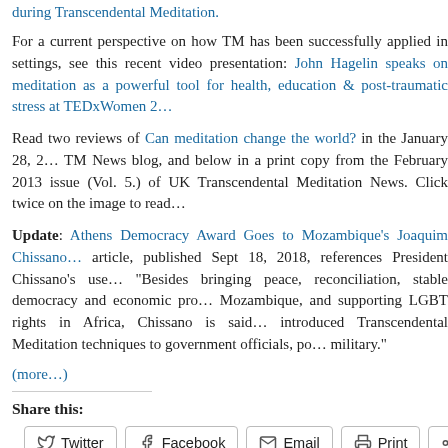during Transcendental Meditation.
For a current perspective on how TM has been successfully applied in settings, see this recent video presentation: John Hagelin speaks on meditation as a powerful tool for health, education & post-traumatic stress at TEDxWomen 2...
Read two reviews of Can meditation change the world? in the January 28, 2... TM News blog, and below in a print copy from the February 2013 issue (Vol. 5.) of UK Transcendental Meditation News. Click twice on the image to read...
Update: Athens Democracy Award Goes to Mozambique's Joaquim Chissa... article, published Sept 18, 2018, references President Chissano's use... "Besides bringing peace, reconciliation, stable democracy and economic pro... Mozambique, and supporting LGBT rights in Africa, Chissano is said... introduced Transcendental Meditation techniques to government officials, p... military."
(more...)
Share this:
Twitter  Facebook  Email  Print  More
Loading...